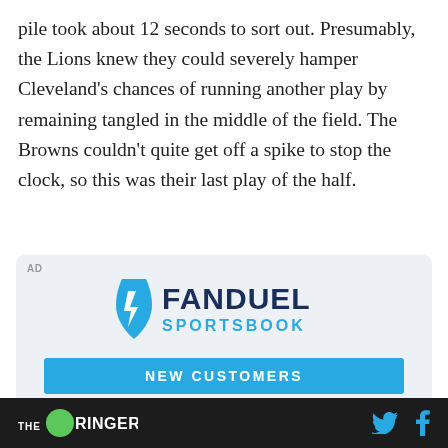pile took about 12 seconds to sort out. Presumably, the Lions knew they could severely hamper Cleveland's chances of running another play by remaining tangled in the middle of the field. The Browns couldn't quite get off a spike to stop the clock, so this was their last play of the half.
[Figure (advertisement): FanDuel Sportsbook advertisement with logo, 'NEW CUSTOMERS' banner, and 'BET ONE GET ONE' text]
THE RINGER (logo) with Twitter and Facebook social icons